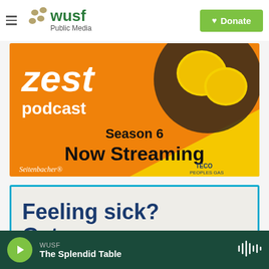[Figure (screenshot): WUSF Public Media website header with hamburger menu, WUSF logo with dots, and green Donate button with heart icon]
[Figure (screenshot): Zest Podcast Season 6 Now Streaming advertisement banner with orange and yellow background, lemons image, Seitenbacher and TECO Peoples Gas logos]
[Figure (screenshot): Healthcare advertisement with teal border on textured background reading 'Feeling sick? Get care now']
WUSF
The Splendid Table